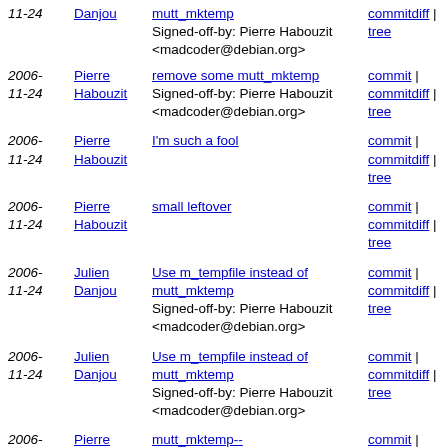2006-11-24 | Julien Danjou | mutt_mktemp (link) Signed-off-by: Pierre Habouzit <madcoder@debian.org> | commit | commitdiff | tree
2006-11-24 | Pierre Habouzit | remove some mutt_mktemp (link) Signed-off-by: Pierre Habouzit <madcoder@debian.org> | commit | commitdiff | tree
2006-11-24 | Pierre Habouzit | I'm such a fool (link) | commit | commitdiff | tree
2006-11-24 | Pierre Habouzit | small leftover (link) | commit | commitdiff | tree
2006-11-24 | Julien Danjou | Use m_tempfile instead of mutt_mktemp (link) Signed-off-by: Pierre Habouzit <madcoder@debian.org> | commit | commitdiff | tree
2006-11-24 | Julien Danjou | Use m_tempfile instead of mutt_mktemp (link) Signed-off-by: Pierre Habouzit <madcoder@debian.org> | commit | commitdiff | tree
2006-11-24 | Pierre Habouzit | mutt_mktemp-- (link) | commit | commitdiff | tree
put old m_snsubst into file.c as ...